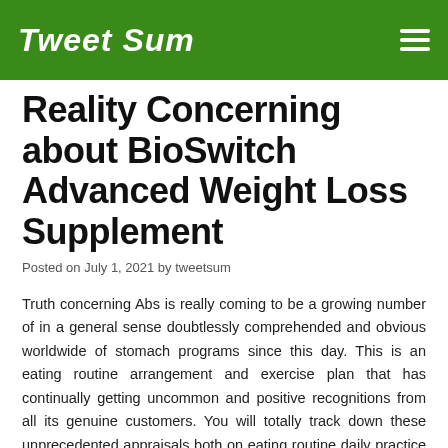Tweet Sum
Reality Concerning about BioSwitch Advanced Weight Loss Supplement
Posted on July 1, 2021 by tweetsum
Truth concerning Abs is really coming to be a growing number of in a general sense doubtlessly comprehended and obvious worldwide of stomach programs since this day. This is an eating routine arrangement and exercise plan that has continually getting uncommon and positive recognitions from all its genuine customers. You will totally track down these unprecedented appraisals both on eating routine daily practice and health talk